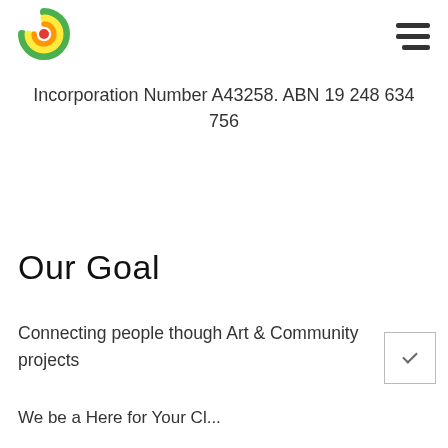[Figure (logo): Circular logo with concentric arcs in green, yellow, orange, and red, forming a sphere-like icon]
Incorporation Number A43258. ABN 19 248 634 756
Our Goal
Connecting people though Art & Community projects
We be a Here for Your Cl...